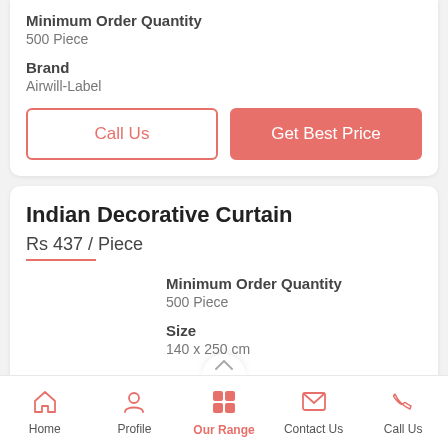Minimum Order Quantity
500 Piece
Brand
Airwill-Label
Call Us
Get Best Price
Indian Decorative Curtain
Rs 437 / Piece
Minimum Order Quantity
500 Piece
Size
140 x 250 cm
Home | Profile | Our Range | Contact Us | Call Us